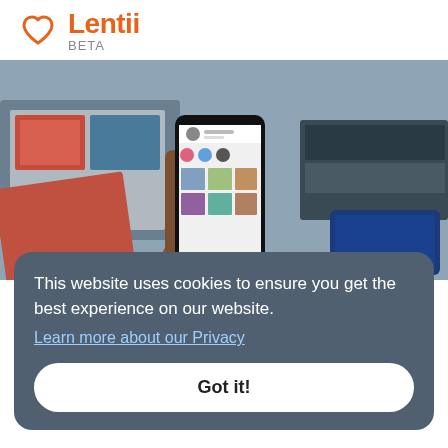[Figure (logo): Lentii logo with orange heart icon and 'Lentii BETA' text]
[Figure (photo): Hand holding a smartphone displaying Instagram, with travel/billboard imagery in the background]
5 ... on In...
Ho...
Ins...
< b...
This website uses cookies to ensure you get the best experience on our website.
Learn more about our Privacy
Got it!